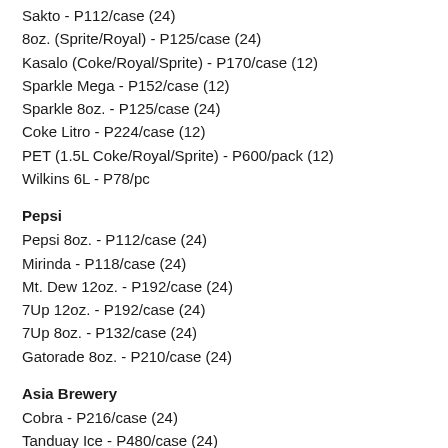Sakto - P112/case (24)
8oz. (Sprite/Royal) - P125/case (24)
Kasalo (Coke/Royal/Sprite) - P170/case (12)
Sparkle Mega - P152/case (12)
Sparkle 8oz. - P125/case (24)
Coke Litro - P224/case (12)
PET (1.5L Coke/Royal/Sprite) - P600/pack (12)
Wilkins 6L - P78/pc
Pepsi
Pepsi 8oz. - P112/case (24)
Mirinda - P118/case (24)
Mt. Dew 12oz. - P192/case (24)
7Up 12oz. - P192/case (24)
7Up 8oz. - P132/case (24)
Gatorade 8oz. - P210/case (24)
Asia Brewery
Cobra - P216/case (24)
Tanduay Ice - P480/case (24)
San Miguel Brewery